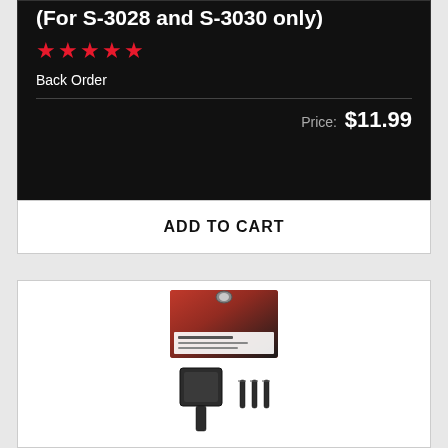(For S-3028 and S-3030 only)
Back Order
Price: $11.99
ADD TO CART
[Figure (photo): Product package showing a high-compression nose press kit with a square press head, a stem, and three screws displayed below the packaging card.]